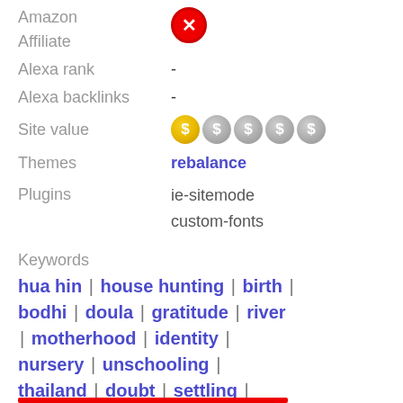Amazon Affiliate  [red X icon]
Alexa rank  -
Alexa backlinks  -
Site value  [1 of 5 dollar coins filled]
Themes  rebalance
Plugins  ie-sitemode  custom-fonts
Keywords
hua hin | house hunting | birth | bodhi | doula | gratitude | river | motherhood | identity | nursery | unschooling | thailand | doubt | settling | lucky | babies | pregnancy | relatives